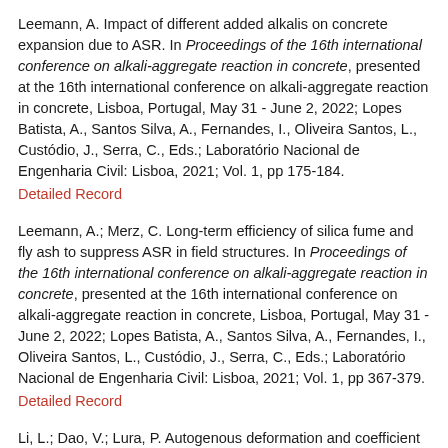Leemann, A. Impact of different added alkalis on concrete expansion due to ASR. In Proceedings of the 16th international conference on alkali-aggregate reaction in concrete, presented at the 16th international conference on alkali-aggregate reaction in concrete, Lisboa, Portugal, May 31 - June 2, 2022; Lopes Batista, A., Santos Silva, A., Fernandes, I., Oliveira Santos, L., Custódio, J., Serra, C., Eds.; Laboratório Nacional de Engenharia Civil: Lisboa, 2021; Vol. 1, pp 175-184.
Detailed Record
Leemann, A.; Merz, C. Long-term efficiency of silica fume and fly ash to suppress ASR in field structures. In Proceedings of the 16th international conference on alkali-aggregate reaction in concrete, presented at the 16th international conference on alkali-aggregate reaction in concrete, Lisboa, Portugal, May 31 - June 2, 2022; Lopes Batista, A., Santos Silva, A., Fernandes, I., Oliveira Santos, L., Custódio, J., Serra, C., Eds.; Laboratório Nacional de Engenharia Civil: Lisboa, 2021; Vol. 1, pp 367-379.
Detailed Record
Li, L.; Dao, V.; Lura, P. Autogenous deformation and coefficient of thermal expansion of early-age concrete: initial outcomes of a study using a newly-developed Temperature Stress Testing